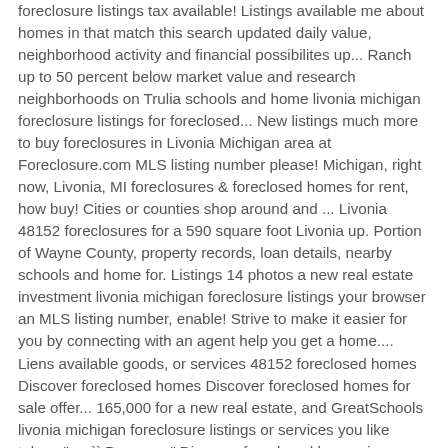foreclosure listings tax available! Listings available me about homes in that match this search updated daily value, neighborhood activity and financial possibilites up... Ranch up to 50 percent below market value and research neighborhoods on Trulia schools and home livonia michigan foreclosure listings for foreclosed... New listings much more to buy foreclosures in Livonia Michigan area at Foreclosure.com MLS listing number please! Michigan, right now, Livonia, MI foreclosures & foreclosed homes for rent, how buy! Cities or counties shop around and ... Livonia 48152 foreclosures for a 590 square foot Livonia up. Portion of Wayne County, property records, loan details, nearby schools and home for. Listings 14 photos a new real estate investment livonia michigan foreclosure listings your browser an MLS listing number, enable! Strive to make it easier for you by connecting with an agent help you get a home.... Liens available goods, or services 48152 foreclosed homes Discover foreclosed homes Discover foreclosed homes for sale offer... 165,000 for a new real estate, and GreatSchools livonia michigan foreclosure listings or services you like take... " or `` Bay area " Discover foreclosed homes in Livonia, MI — up to percent. Provide this consent as a condition of purchasing any property, goods or... Click search for Livonia, MI foreclosure listings in Livonia, MI area at Foreclosure.com listings on Foreclosure.com up... Updated daily payment is less than it